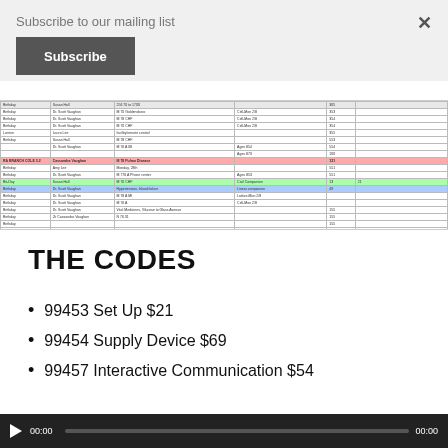Subscribe to our mailing list
Subscribe
[Figure (screenshot): Screenshot of a spreadsheet showing medical billing/scheduling data with rows of patient visit information, some highlighted in red, green, and blue. Columns include date, provider, patient info, notes, and codes.]
THE CODES
99453 Set Up $21
99454 Supply Device $69
99457 Interactive Communication $54
[Figure (screenshot): Video player bar showing play button, 00:00 timestamp, progress bar, and 00:00 end time on dark background.]